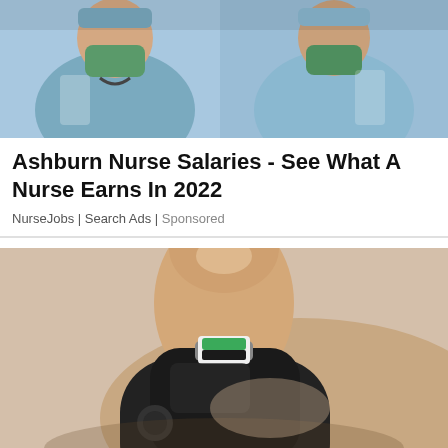[Figure (photo): Two nurses/doctors in blue scrubs and green surgical masks]
Ashburn Nurse Salaries - See What A Nurse Earns In 2022
NurseJobs | Search Ads | Sponsored
[Figure (photo): Close-up of a hand holding a blood glucose meter with a test strip inserted]
9 early warning signs and symptoms of diabetes